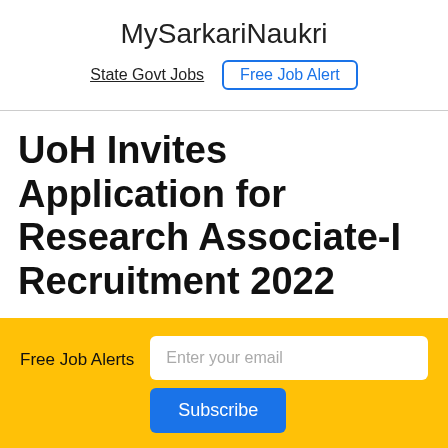MySarkariNaukri
State Govt Jobs  Free Job Alert
UoH Invites Application for Research Associate-I Recruitment 2022
Free Job Alerts  Enter your email  Subscribe
[Figure (screenshot): Bottom app download bar showing blue icon, green WhatsApp icon, dots, and ANDROID APP ON label]
x